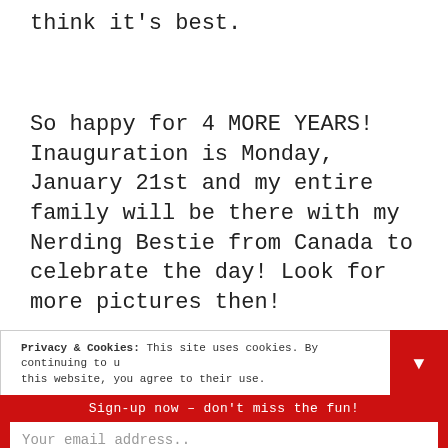think it's best.
So happy for 4 MORE YEARS! Inauguration is Monday, January 21st and my entire family will be there with my Nerding Bestie from Canada to celebrate the day! Look for more pictures then!
Privacy & Cookies: This site uses cookies. By continuing to use this website, you agree to their use.
Sign-up now - don't miss the fun!
Your email address..
Subscribe